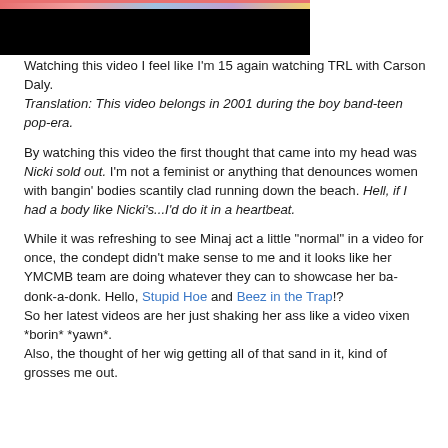[Figure (photo): Partial screenshot of a video thumbnail with a colorful top strip and black lower area]
Watching this video I feel like I'm 15 again watching TRL with Carson Daly.
Translation: This video belongs in 2001 during the boy band-teen pop-era.

By watching this video the first thought that came into my head was Nicki sold out. I'm not a feminist or anything that denounces women with bangin' bodies scantily clad running down the beach. Hell, if I had a body like Nicki's...I'd do it in a heartbeat.
While it was refreshing to see Minaj act a little "normal" in a video for once, the condept didn't make sense to me and it looks like her YMCMB team are doing whatever they can to showcase her ba-donk-a-donk. Hello, Stupid Hoe and Beez in the Trap!?
So her latest videos are her just shaking her ass like a video vixen *borin* *yawn*.
Also, the thought of her wig getting all of that sand in it, kind of grosses me out.